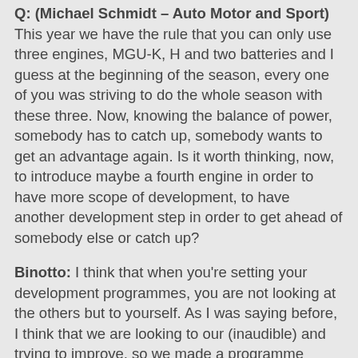Q: (Michael Schmidt – Auto Motor and Sport) This year we have the rule that you can only use three engines, MGU-K, H and two batteries and I guess at the beginning of the season, every one of you was striving to do the whole season with these three. Now, knowing the balance of power, somebody has to catch up, somebody wants to get an advantage again. Is it worth thinking, now, to introduce maybe a fourth engine in order to have more scope of development, to have another development step in order to get ahead of somebody else or catch up?
Binotto: I think that when you're setting your development programmes, you are not looking at the others but to yourself. As I was saying before, I think that we are looking to our (inaudible) and trying to improve, so we made a programme looking at ourselves and not to the others. We knew that it was three engines per the season, our pack is three engines per season, I don't think that will change, whatever is the balance, because the best way somehow to achieve or optimise your performance is trying to optimise your own performance and not relative to the others. Again, at this stage of the season, we are in Spain, if you look, no one has introduced, at least to